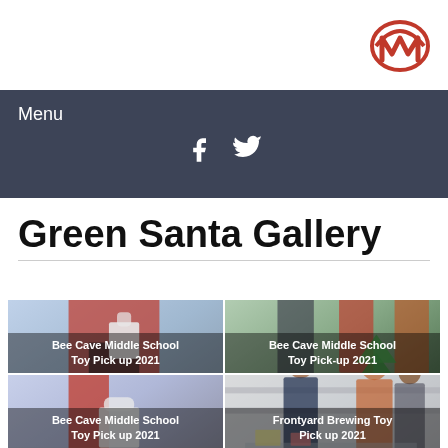[Figure (logo): Red M-shaped logo (Moe's or similar brand) - circular arc with stylized M in red on white background]
Menu
[Figure (infographic): Dark navy navigation bar with 'Menu' label and Facebook (f) and Twitter (bird) social media icons in white]
Green Santa Gallery
[Figure (photo): Bee Cave Middle School Toy Pick up 2021 - person in red shirt holding wrapped gift at what appears to be a store]
[Figure (photo): Bee Cave Middle School Toy Pick-up 2021 - group of people including woman with Santa hat holding toys/gifts]
[Figure (photo): Bee Cave Middle School Toy Pick up 2021 - person in red holding gifts and decorations]
[Figure (photo): Frontyard Brewing Toy Pick up 2021 - people at what appears to be a brewery/bar setting]